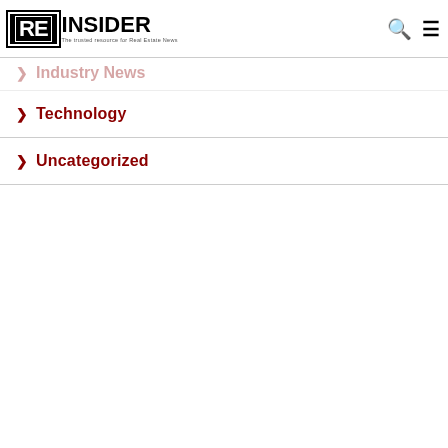RE INSIDER - The trusted resource for Real Estate News
> Industry News
> Technology
> Uncategorized